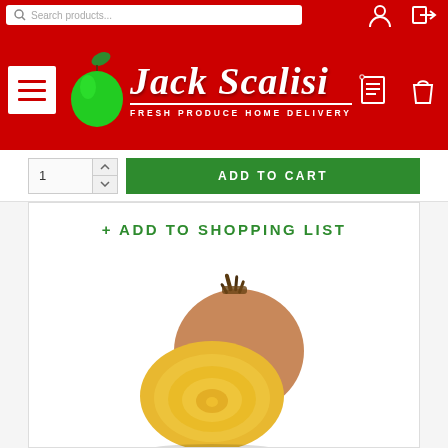[Figure (screenshot): Top red navigation bar with search field reading 'Search products...' and user/login icons on the right]
[Figure (logo): Jack Scalisi Fresh Produce Home Delivery logo on red background with green apple, hamburger menu button, list icon and shopping bag icon]
ADD TO CART
+ ADD TO SHOPPING LIST
[Figure (photo): Golden/yellow beet vegetable, one whole and one cut in half showing yellow interior with rings]